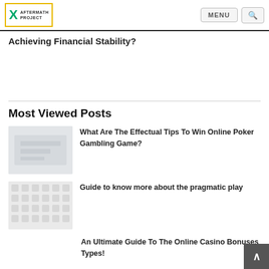[Figure (logo): Aftermath Project logo — X mark in teal/green with yellow border box, text reads AFTERMATH PROJECT]
MENU | Search
Achieving Financial Stability?
Most Viewed Posts
[Figure (photo): Thumbnail image for poker gambling article — light grey/white image]
What Are The Effectual Tips To Win Online Poker Gambling Game?
[Figure (photo): Thumbnail image for pragmatic play article — light pattern image]
Guide to know more about the pragmatic play
An Ultimate Guide To The Online Casino Bonuses Types!